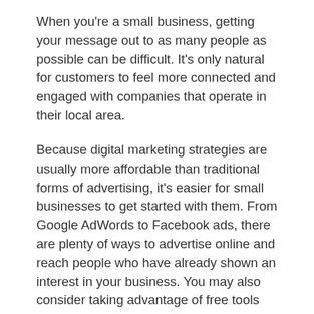When you're a small business, getting your message out to as many people as possible can be difficult. It's only natural for customers to feel more connected and engaged with companies that operate in their local area.
Because digital marketing strategies are usually more affordable than traditional forms of advertising, it's easier for small businesses to get started with them. From Google AdWords to Facebook ads, there are plenty of ways to advertise online and reach people who have already shown an interest in your business. You may also consider taking advantage of free tools like Twitter or YouTube, but you don't necessarily need much money to market your business online.
They can save time and costs on advertising